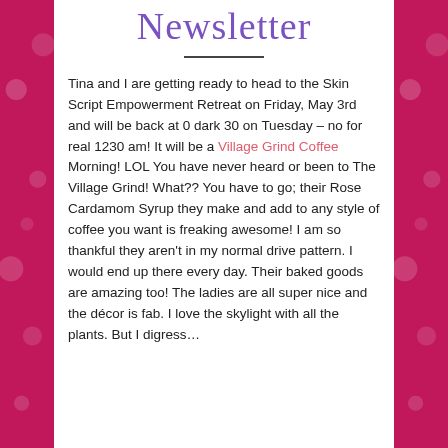Newsletter
Tina and I are getting ready to head to the Skin Script Empowerment Retreat on Friday, May 3rd and will be back at 0 dark 30 on Tuesday – no for real 1230 am! It will be a Village Grind Coffee Morning! LOL You have never heard or been to The Village Grind! What?? You have to go; their Rose Cardamom Syrup they make and add to any style of coffee you want is freaking awesome! I am so thankful they aren't in my normal drive pattern. I would end up there every day. Their baked goods are amazing too! The ladies are all super nice and the décor is fab. I love the skylight with all the plants. But I digress…